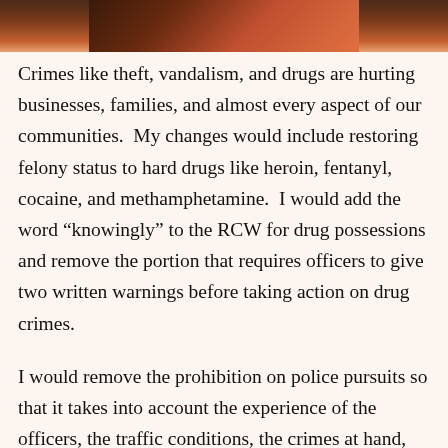[Figure (photo): Partial photo strip at top of page showing a dark background with warm reddish-brown tones, appears to be a cropped photo]
Crimes like theft, vandalism, and drugs are hurting businesses, families, and almost every aspect of our communities.  My changes would include restoring felony status to hard drugs like heroin, fentanyl, cocaine, and methamphetamine.  I would add the word “knowingly” to the RCW for drug possessions and remove the portion that requires officers to give two written warnings before taking action on drug crimes.
I would remove the prohibition on police pursuits so that it takes into account the experience of the officers, the traffic conditions, the crimes at hand, instead of a blanket prohibition.  Yes, there may be